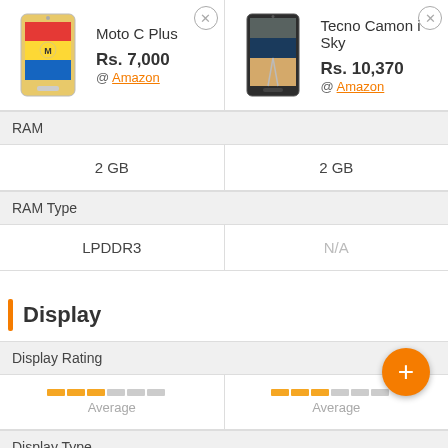[Figure (photo): Moto C Plus smartphone product image - yellow/red/blue colored back panel with Motorola logo]
Moto C Plus
Rs. 7,000
@ Amazon
[Figure (photo): Tecno Camon i Sky smartphone product image - dark colored phone showing landscape screen]
Tecno Camon i Sky
Rs. 10,370
@ Amazon
RAM
2 GB
2 GB
RAM Type
LPDDR3
N/A
Display
Display Rating
Average
Average
Display Type
IPS LCD
IPS LCD
Screen Size